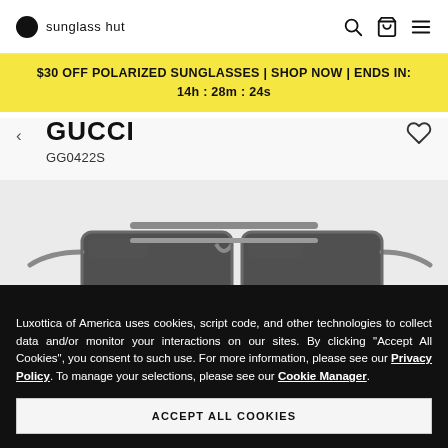sunglass hut
$30 OFF POLARIZED SUNGLASSES | SHOP NOW | ENDS IN: 14h : 28m : 24s
GUCCI
GG0422S
[Figure (photo): Gucci GG0422S sunglasses — aviator-style with dark rectangular lenses and silver/gunmetal double bridge frame]
Luxottica of America uses cookies, script code, and other technologies to collect data and/or monitor your interactions on our sites. By clicking "Accept All Cookies", you consent to such use. For more information, please see our Privacy Policy. To manage your selections, please see our Cookie Manager.
ACCEPT ALL COOKIES